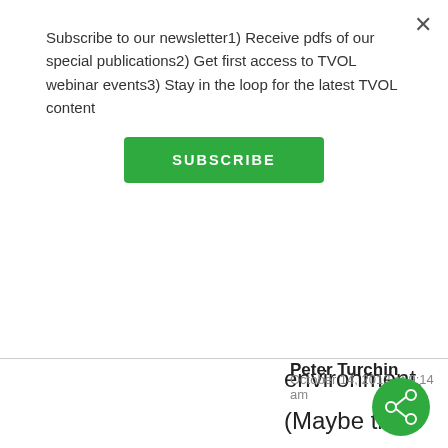Subscribe to our newsletter1) Receive pdfs of our special publications2) Get first access to TVOL webinar events3) Stay in the loop for the latest TVOL content
SUBSCRIBE
environment. (Maybe they had some genetic advantages too.)
↵ Reply
Peter Turchin
October 14, 2012 at 9:14 am